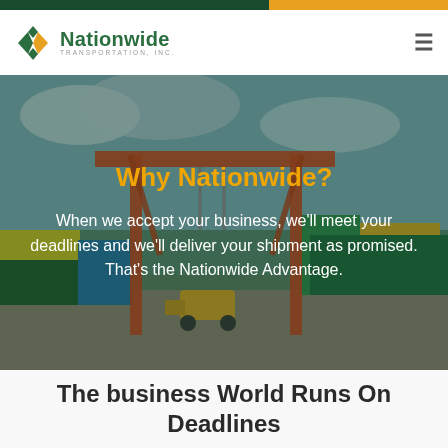[Figure (logo): Nationwide Transportation, Inc. logo with diamond-shaped arrow icon in green and gold]
Why Nationwide?
When we accept your business, we'll meet your deadlines and we'll deliver your shipment as promised. That's the Nationwide Advantage.
[Figure (photo): Container port scene with red gantry crane and stacked shipping containers in background]
The business World Runs On Deadlines